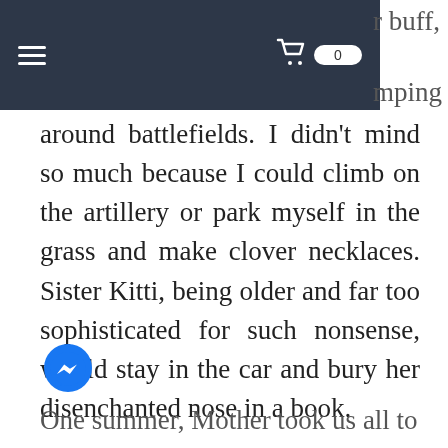r buff, mping
around battlefields. I didn't mind so much because I could climb on the artillery or park myself in the grass and make clover necklaces. Sister Kitti, being older and far too sophisticated for such nonsense, would stay in the car and bury her disenchanted nose in a book.
[Figure (illustration): Facebook Messenger app icon — blue circle with white lightning bolt chat bubble]
One summer, Mother took us all to